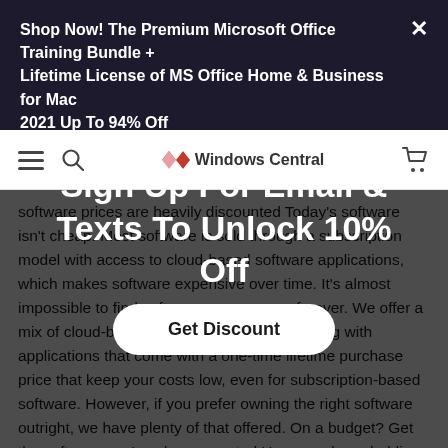Shop Now! The Premium Microsoft Office Training Bundle + Lifetime License of MS Office Home & Business for Mac 2021 Up To 94% Off
[Figure (screenshot): Windows Central website navigation bar with hamburger menu, search icon, Windows Central logo, and cart icon]
software prices are heavily discounted Today's software isn't cheap. Most software is sold through a subscription model with access to cloud-based software applications, which makes software expensive over time. It's almost impossible to find software you can own forever. We offer a mix of cloud-based subscription software along with applications that come with a one-time lifetime purchase price that keep your costs low, even for subscription-based software. However, if you prefer owning the right software outright, we have plenty of that offered. On a budget? Get the software you've always wanted Have you been holding back from buying the software you need? Check out our selection of discounted software prices We have a huge selection of various types of software including VPN services, photo editing, video editing, games, learning applications,
Sign Up For Email & Texts To Unlock 10% Off
Get Discount